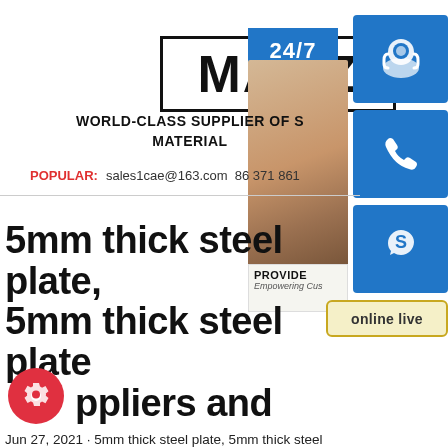[Figure (logo): MAGZ logo in black bold text inside a rectangular border]
[Figure (infographic): Customer service panel with 24/7 banner, woman with headset photo, blue icon blocks for headset, phone, Skype, PROVIDE banner, and online live button]
WORLD-CLASS SUPPLIER OF S MATERIAL
POPULAR: sales1cae@163.com 86 371 861
5mm thick steel plate, 5mm thick steel plate Suppliers and
Jun 27, 2021 · 5mm thick steel plate, 5mm thick steel